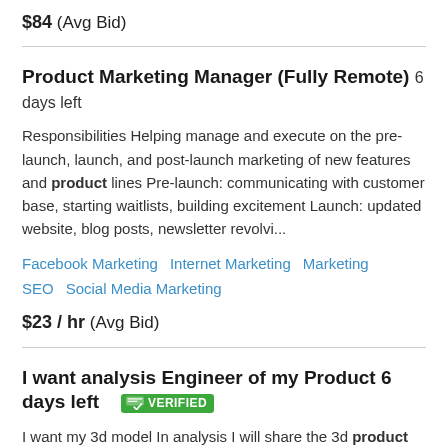$84  (Avg Bid)
Product Marketing Manager (Fully Remote)  6 days left
Responsibilities Helping manage and execute on the pre-launch, launch, and post-launch marketing of new features and product lines Pre-launch: communicating with customer base, starting waitlists, building excitement Launch: updated website, blog posts, newsletter revolvi...
Facebook Marketing   Internet Marketing   Marketing   SEO   Social Media Marketing
$23 / hr  (Avg Bid)
I want analysis Engineer of my Product  6 days left  VERIFIED
I want my 3d model In analysis I will share the 3d product